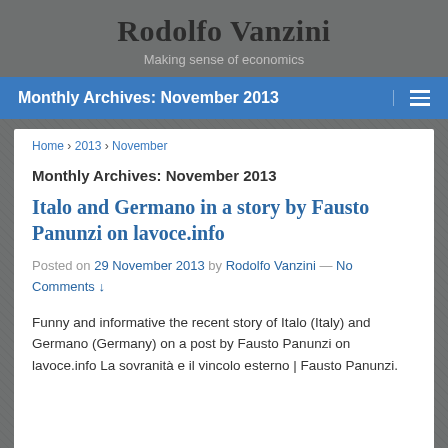Rodolfo Vanzini
Making sense of economics
Monthly Archives: November 2013
Home › 2013 › November
Monthly Archives: November 2013
Italo and Germano in a story by Fausto Panunzi on lavoce.info
Posted on 29 November 2013 by Rodolfo Vanzini — No Comments ↓
Funny and informative the recent story of Italo (Italy) and Germano (Germany) on a post by Fausto Panunzi on lavoce.info La sovranità e il vincolo esterno | Fausto Panunzi.